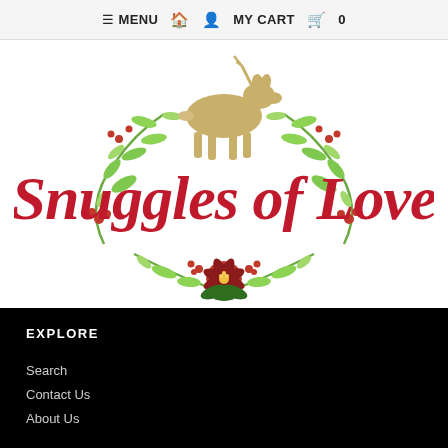≡ MENU  🏠  👤  MY CART  🛒  0
[Figure (logo): Snuggles of Love logo with decorative Christmas wreath made of green branches, red berries, and a red poinsettia flower, a golden deer silhouette in the center top, and cursive red text reading 'Snuggles of Love']
EXPLORE
Search
Contact Us
About Us